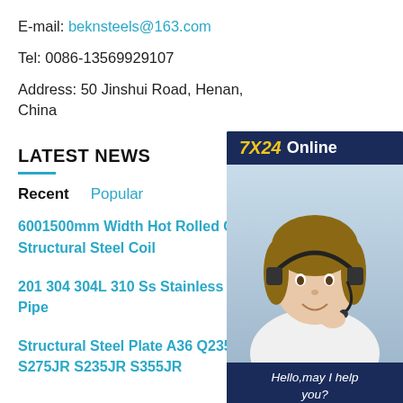E-mail: beknsteels@163.com
Tel: 0086-13569929107
Address: 50 Jinshui Road, Henan, China
[Figure (other): 7X24 Online customer service widget with a photo of a woman wearing a headset and text 'Hello, may I help you?' and a 'Get Latest Price' button]
LATEST NEWS
Recent   Popular
6001500mm Width Hot Rolled Coil Structural Steel Coil
201 304 304L 310 Ss Stainless Steel Pipe
Structural Steel Plate A36 Q235 Q345 S275JR S235JR S355JR